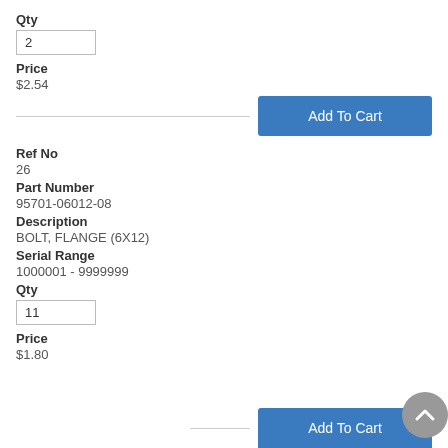Qty
2
Price
$2.54
[Figure (other): Add To Cart button]
Ref No
26
Part Number
95701-06012-08
Description
BOLT, FLANGE (6X12)
Serial Range
1000001 - 9999999
Qty
11
Price
$1.80
[Figure (other): Add To Cart button (partially visible) and back-to-top button]